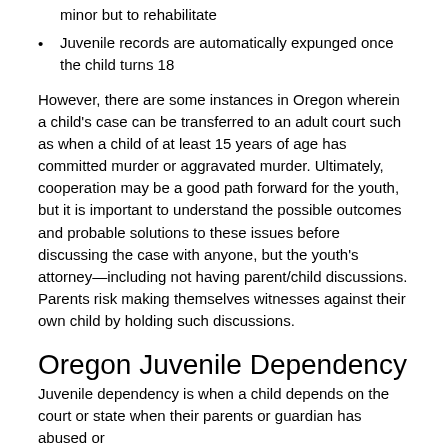minor but to rehabilitate
Juvenile records are automatically expunged once the child turns 18
However, there are some instances in Oregon wherein a child's case can be transferred to an adult court such as when a child of at least 15 years of age has committed murder or aggravated murder. Ultimately, cooperation may be a good path forward for the youth, but it is important to understand the possible outcomes and probable solutions to these issues before discussing the case with anyone, but the youth's attorney—including not having parent/child discussions. Parents risk making themselves witnesses against their own child by holding such discussions.
Oregon Juvenile Dependency
Juvenile dependency is when a child depends on the court or state when their parents or guardian has abused or